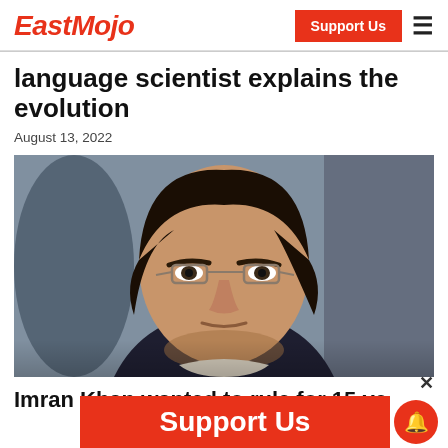EastMojo
language scientist explains the evolution
August 13, 2022
[Figure (photo): Photo of Imran Khan, a man with dark hair and glasses wearing a dark suit, speaking or talking]
Imran Khan wanted to rule for 15 ye...
Support Us